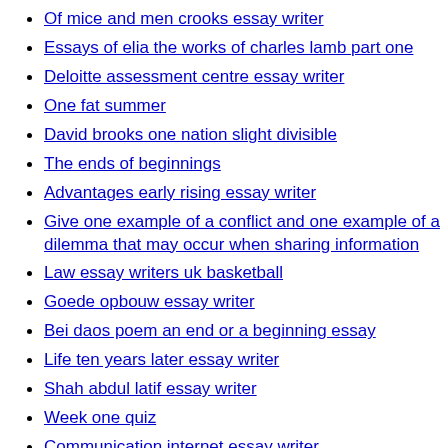Of mice and men crooks essay writer
Essays of elia the works of charles lamb part one
Deloitte assessment centre essay writer
One fat summer
David brooks one nation slight divisible
The ends of beginnings
Advantages early rising essay writer
Give one example of a conflict and one example of a dilemma that may occur when sharing information
Law essay writers uk basketball
Goede opbouw essay writer
Bei daos poem an end or a beginning essay
Life ten years later essay writer
Shah abdul latif essay writer
Week one quiz
Communication internet essay writer
The sandman paul berry essay writer